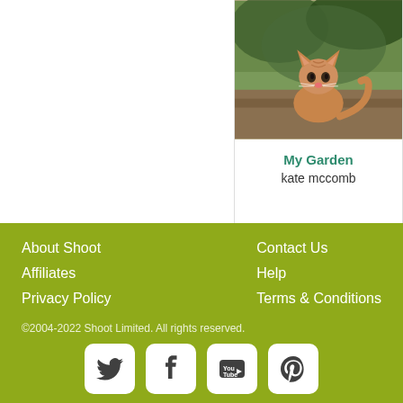[Figure (photo): Photo of a ginger cat sitting outdoors in a garden]
My Garden
kate mccomb
Report content or feedback to Shoot
About Shoot | Affiliates | Privacy Policy | Contact Us | Help | Terms & Conditions | ©2004-2022 Shoot Limited. All rights reserved.